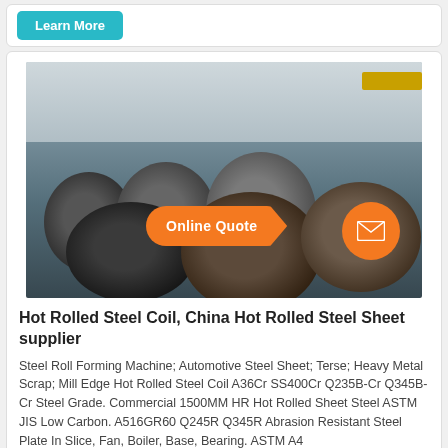Learn More
[Figure (photo): Industrial factory interior showing multiple large hot-rolled steel coils stacked on a concrete floor, with overhead cranes and yellow beams visible in the background. An orange 'Online Quote' call-to-action button with an arrow pointing to an orange circle with a mail/envelope icon overlaid on the image.]
Hot Rolled Steel Coil, China Hot Rolled Steel Sheet supplier
Steel Roll Forming Machine; Automotive Steel Sheet; Terse; Heavy Metal Scrap; Mill Edge Hot Rolled Steel Coil A36Cr SS400Cr Q235B-Cr Q345B-Cr Steel Grade. Commercial 1500MM HR Hot Rolled Sheet Steel ASTM JIS Low Carbon. A516GR60 Q245R Q345R Abrasion Resistant Steel Plate In Slice, Fan, Boiler, Base, Bearing. ASTM A4...